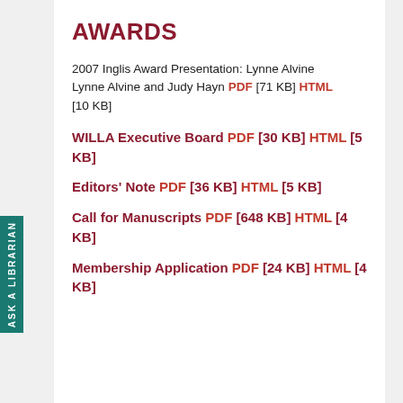AWARDS
2007 Inglis Award Presentation: Lynne Alvine Lynne Alvine and Judy Hayn PDF [71 KB] HTML [10 KB]
WILLA Executive Board PDF [30 KB] HTML [5 KB]
Editors' Note PDF [36 KB] HTML [5 KB]
Call for Manuscripts PDF [648 KB] HTML [4 KB]
Membership Application PDF [24 KB] HTML [4 KB]